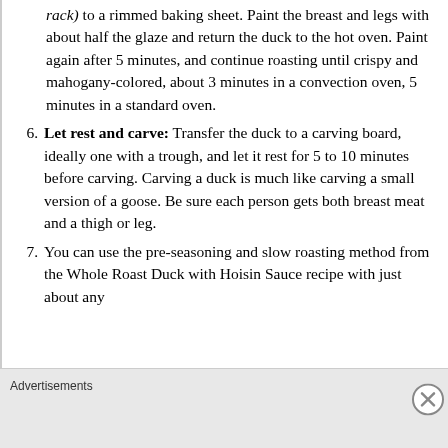(on the roasting rack) to a rimmed baking sheet. Paint the breast and legs with about half the glaze and return the duck to the hot oven. Paint again after 5 minutes, and continue roasting until crispy and mahogany-colored, about 3 minutes in a convection oven, 5 minutes in a standard oven.
6. Let rest and carve: Transfer the duck to a carving board, ideally one with a trough, and let it rest for 5 to 10 minutes before carving. Carving a duck is much like carving a small version of a goose. Be sure each person gets both breast meat and a thigh or leg.
7. You can use the pre-seasoning and slow roasting method from the Whole Roast Duck with Hoisin Sauce recipe with just about any
Advertisements